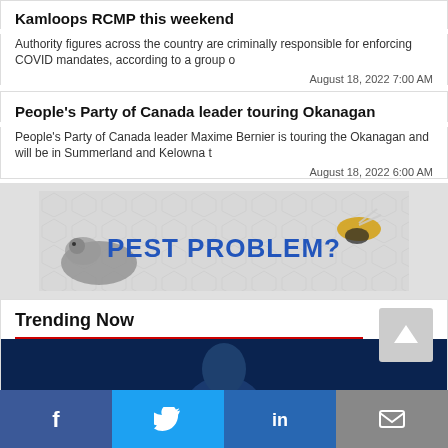Kamloops RCMP this weekend
Authority figures across the country are criminally responsible for enforcing COVID mandates, according to a group o
August 18, 2022 7:00 AM
People's Party of Canada leader touring Okanagan
People's Party of Canada leader Maxime Bernier is touring the Okanagan and will be in Summerland and Kelowna t
August 18, 2022 6:00 AM
[Figure (photo): Advertisement banner showing a rat and a wasp with the text PEST PROBLEM?]
Trending Now
[Figure (photo): Dark blue background with partial view of a person's head - trending now section image]
Social sharing bar with Facebook, Twitter, LinkedIn, and Email buttons